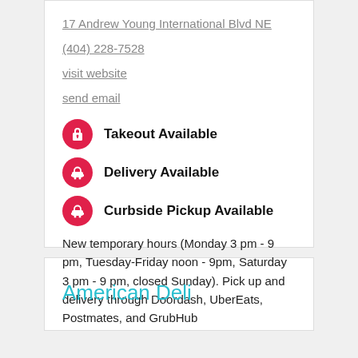17 Andrew Young International Blvd NE
(404) 228-7528
visit website
send email
Takeout Available
Delivery Available
Curbside Pickup Available
New temporary hours (Monday 3 pm - 9 pm, Tuesday-Friday noon - 9pm, Saturday 3 pm - 9 pm, closed Sunday). Pick up and delivery through Doordash, UberEats, Postmates, and GrubHub
American Deli